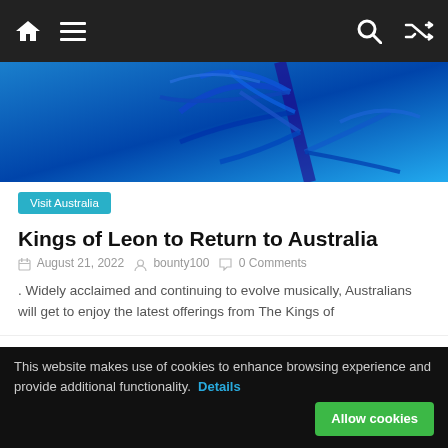Navigation bar with home, menu, search, and shuffle icons
[Figure (photo): Blue-tinted close-up photo of plant leaves/foliage against a blue background]
Visit Australia
Kings of Leon to Return to Australia
August 21, 2022   bounty100   0 Comments
. Widely acclaimed and continuing to evolve musically, Australians will get to enjoy the latest offerings from The Kings of
[Figure (photo): Small thumbnail image showing a dark screen/TV]
Easy Google AdWords Training
This website makes use of cookies to enhance browsing experience and provide additional functionality.   Details   Allow cookies